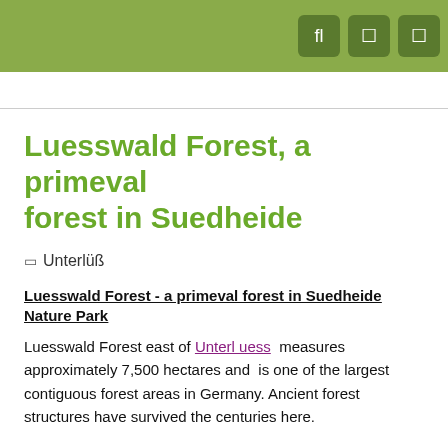Luesswald Forest, a primeval forest in Suedheide
Unterlüß
Luesswald Forest - a primeval forest in Suedheide Nature Park
Luesswald Forest east of Unterl uess measures approximately 7,500 hectares and is one of the largest contiguous forest areas in Germany. Ancient forest structures have survived the centuries here.